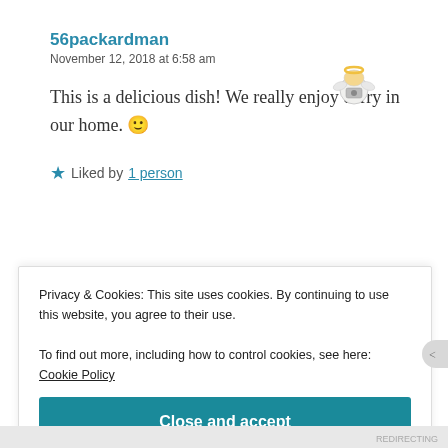56packardman
November 12, 2018 at 6:58 am
This is a delicious dish! We really enjoy curry in our home. 🙂
★ Liked by 1 person
Reply
Privacy & Cookies: This site uses cookies. By continuing to use this website, you agree to their use.
To find out more, including how to control cookies, see here: Cookie Policy
Close and accept